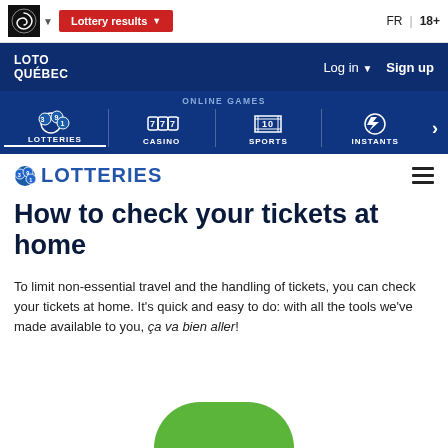Lottery results | FR | 18+
LOTO QUÉBEC | Log in | Sign up
ONLINE GAMES | LOTTERIES | CASINO | SPORTS | INSTANTS
LOTTERIES
How to check your tickets at home
To limit non-essential travel and the handling of tickets, you can check your tickets at home. It's quick and easy to do: with all the tools we've made available to you, ça va bien aller!